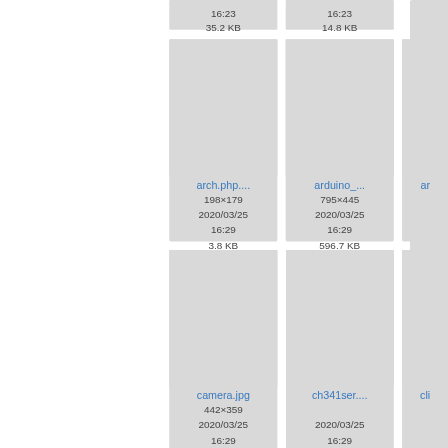[Figure (screenshot): File browser thumbnail grid showing image files with metadata. Top row partial: 16:23 / 35.2 KB and 16:23 / 14.8 KB. Second row: arch.php.... 198x179 2020/03/25 16:29 3.8 KB; arduino_... 795x445 2020/03/25 16:29 596.7 KB; ar... (partial). Third row: camera.jpg 442x359 2020/03/25 16:29 46 KB; ch341ser.... 2020/03/25 16:29 141 KB; cli... (partial).]